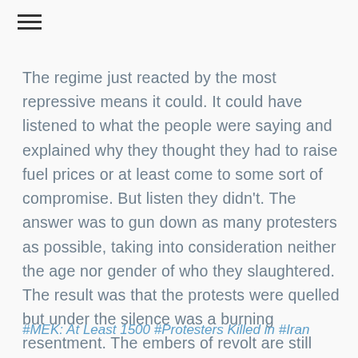≡
The regime just reacted by the most repressive means it could. It could have listened to what the people were saying and explained why they thought they had to raise fuel prices or at least come to some sort of compromise. But listen they didn't. The answer was to gun down as many protesters as possible, taking into consideration neither the age nor gender of who they slaughtered. The result was that the protests were quelled but under the silence was a burning resentment. The embers of revolt are still simmering and may spark into an inferno given the right conditions. The regime is indeed living on borrowed time.
#MEK: At Least 1500 #Protesters Killed in #Iran